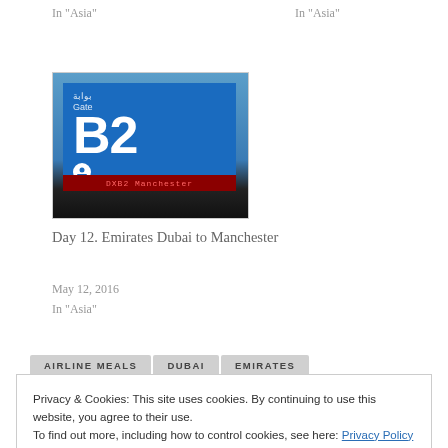In "Asia"
In "Asia"
[Figure (photo): Airport gate sign showing Gate B2 on a blue screen with Arabic text and a Manchester destination bar below]
Day 12. Emirates Dubai to Manchester
May 12, 2016
In "Asia"
AIRLINE MEALS   DUBAI   EMIRATES
Privacy & Cookies: This site uses cookies. By continuing to use this website, you agree to their use.
To find out more, including how to control cookies, see here: Privacy Policy
Close and accept
PREVIOUS